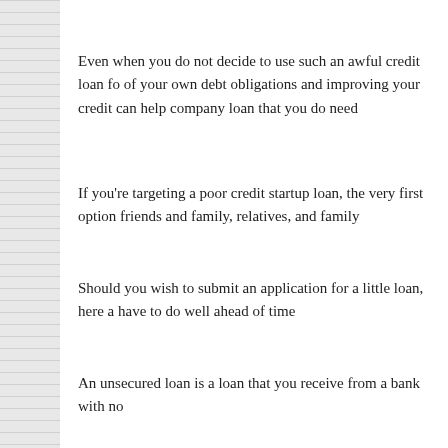Even when you do not decide to use such an awful credit loan fo of your own debt obligations and improving your credit can help company loan that you do need
If you’re targeting a poor credit startup loan, the very first option friends and family, relatives, and family
Should you wish to submit an application for a little loan, here a have to do well ahead of time
An unsecured loan is a loan that you receive from a bank with no
There are a number of ways you are able to acquire a short-term
From the aforementioned, you can observe that it’s really not so your new company
So that the loan includes advantages like competitive rate of int